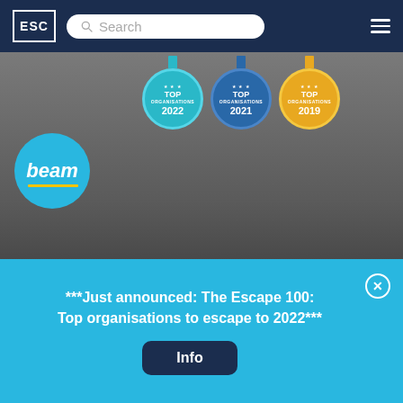ESC | Search | Navigation
[Figure (logo): Three medal badges: TOP ORGANISATIONS 2022 (teal), TOP ORGANISATIONS 2021 (dark blue), TOP ORGANISATIONS 2019 (gold)]
[Figure (logo): Beam logo - white text on cyan circle with yellow underline]
[Figure (photo): Background photo of two people looking at camera on a grey background]
DIRECTOR OF OPERATIONS
***Just announced: The Escape 100: Top organisations to escape to 2022***
Info